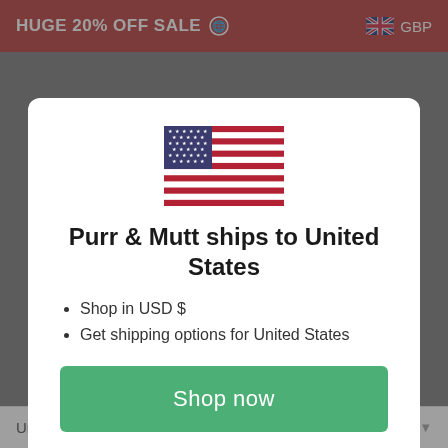HUGE 20% OFF SALE | GBP
[Figure (illustration): US flag icon centered in modal dialog]
Purr & Mutt ships to United States
Shop in USD $
Get shipping options for United States
Shop now
Change shipping country
United Kingdom (GBP £)